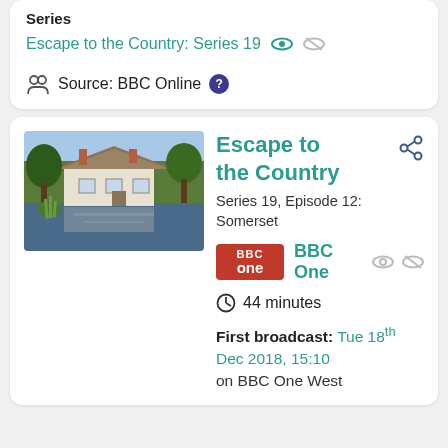Series
Escape to the Country: Series 19
Source: BBC Online
Escape to the Country
[Figure (photo): A thatched country cottage reflected in a pond, surrounded by trees]
Series 19, Episode 12: Somerset
BBC One
44 minutes
First broadcast: Tue 18th Dec 2018, 15:10 on BBC One West